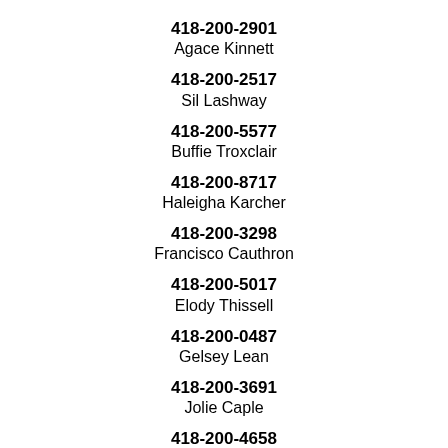418-200-2901
Agace Kinnett
418-200-2517
Sil Lashway
418-200-5577
Buffie Troxclair
418-200-8717
Haleigha Karcher
418-200-3298
Francisco Cauthron
418-200-5017
Elody Thissell
418-200-0487
Gelsey Lean
418-200-3691
Jolie Caple
418-200-4658